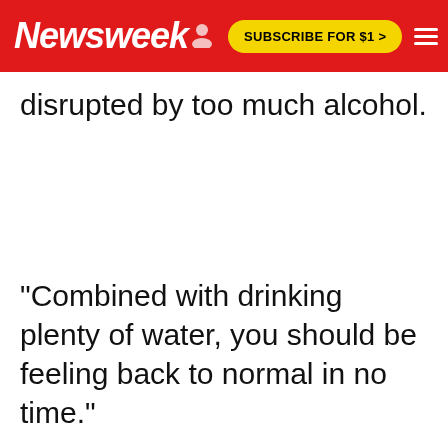Newsweek | SUBSCRIBE FOR $1 >
disrupted by too much alcohol.
"Combined with drinking plenty of water, you should be feeling back to normal in no time."